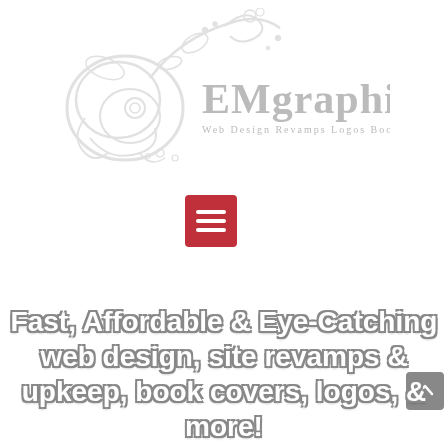[Figure (logo): EMgraphics, LLC logo with ornate floral/swirl decorative design in light gray. Text reads 'EMgraphics, LLC' with tagline 'Web Design, Revamps, Logos, Book Covers & Upkeep']
[Figure (infographic): Red square button with three white horizontal lines (hamburger/menu icon)]
Fast, Affordable & Eye-Catching web design, site revamps & upkeep, book covers, logos, & more!